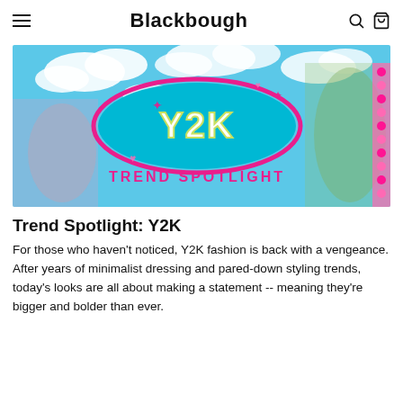Blackbough
[Figure (photo): Y2K Trend Spotlight banner image with two women in bikinis against a blue sky background, featuring a Y2K logo and 'TREND SPOTLIGHT' text in retro pink lettering]
Trend Spotlight: Y2K
For those who haven't noticed, Y2K fashion is back with a vengeance. After years of minimalist dressing and pared-down styling trends, today's looks are all about making a statement -- meaning they're bigger and bolder than ever.